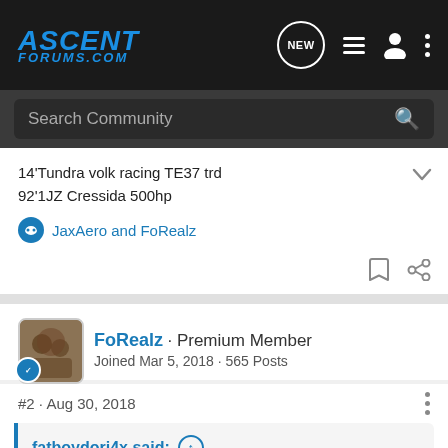AscentForums.com
Search Community
14'Tundra volk racing TE37 trd
92'1JZ Cressida 500hp
JaxAero and FoRealz
FoRealz · Premium Member
Joined Mar 5, 2018 · 565 Posts
#2 · Aug 30, 2018
fatboydori4x said: ↑
Hey guys, just got back from front runners outfitters out in Agoura Hills, ca. Got the perfect size for our ascents that do not interfere with the sunroof( whether tilted or fully open). They will have a catalog for sizing and options for the car soon. From adding a kayak to